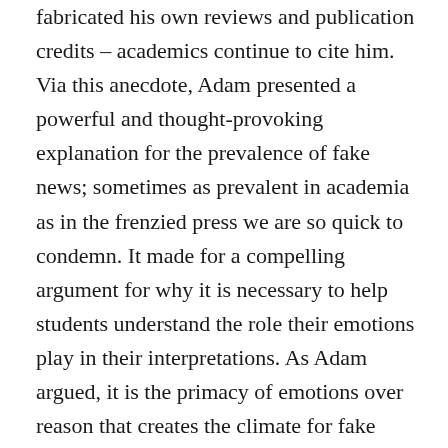fabricated his own reviews and publication credits – academics continue to cite him. Via this anecdote, Adam presented a powerful and thought-provoking explanation for the prevalence of fake news; sometimes as prevalent in academia as in the frenzied press we are so quick to condemn. It made for a compelling argument for why it is necessary to help students understand the role their emotions play in their interpretations. As Adam argued, it is the primacy of emotions over reason that creates the climate for fake news. Consequently, he concluded, the solution to fake news won't be tweaks to Facebook algorithms; it will be educators, not engineers. (His presentation was stuffed with just such juicy soundbites!) It is perhaps testament to the importance of this topic that this was